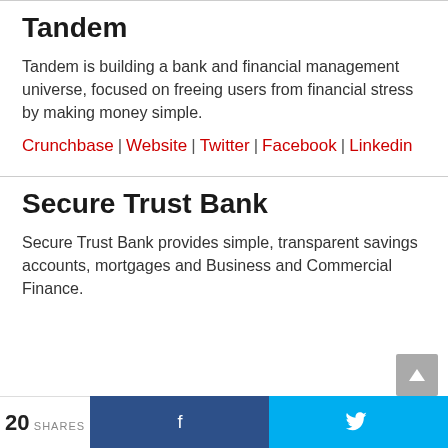Tandem
Tandem is building a bank and financial management universe, focused on freeing users from financial stress by making money simple.
Crunchbase | Website | Twitter | Facebook | Linkedin
Secure Trust Bank
Secure Trust Bank provides simple, transparent savings accounts, mortgages and Business and Commercial Finance.
20 SHARES